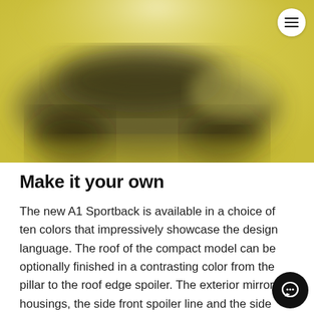[Figure (photo): A yellow/gold Audi A1 Sportback car shown from the side/front angle against a yellow-gold gradient background. The image is slightly blurred/softened.]
Make it your own
The new A1 Sportback is available in a choice of ten colors that impressively showcase the design language. The roof of the compact model can be optionally finished in a contrasting color from the pillar to the roof edge spoiler. The exterior mirror housings, the side front spoiler line and the side sills